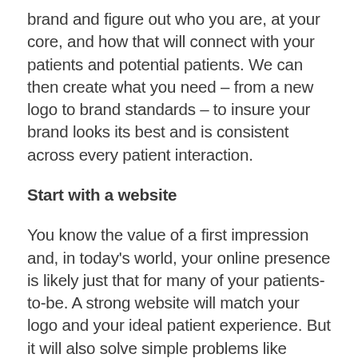brand and figure out who you are, at your core, and how that will connect with your patients and potential patients. We can then create what you need – from a new logo to brand standards – to insure your brand looks its best and is consistent across every patient interaction.
Start with a website
You know the value of a first impression and, in today's world, your online presence is likely just that for many of your patients-to-be. A strong website will match your logo and your ideal patient experience. But it will also solve simple problems like providing easy access to frequently requested information so your